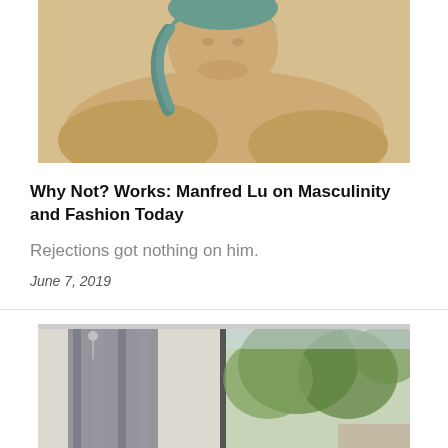[Figure (photo): Warm-toned painted portrait of a person, shirtless, with teal/blue hair, reclining, yellowish-tan background.]
Why Not? Works: Manfred Lu on Masculinity and Fashion Today
Rejections got nothing on him.
June 7, 2019
[Figure (photo): Photograph of a window with gray curtains, view of trees outside, window frame visible, interior wall.]